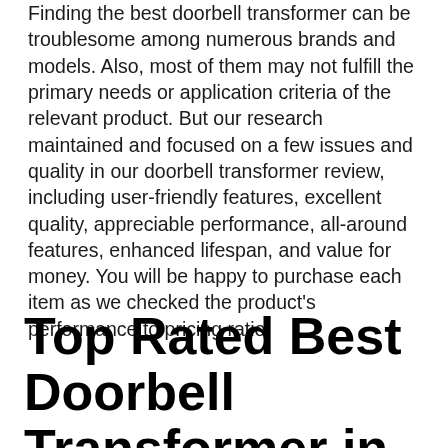Finding the best doorbell transformer can be troublesome among numerous brands and models. Also, most of them may not fulfill the primary needs or application criteria of the relevant product. But our research maintained and focused on a few issues and quality in our doorbell transformer review, including user-friendly features, excellent quality, appreciable performance, all-around features, enhanced lifespan, and value for money. You will be happy to purchase each item as we checked the product's performance to pricing ratio.
Top Rated Best Doorbell Transformer in 2022